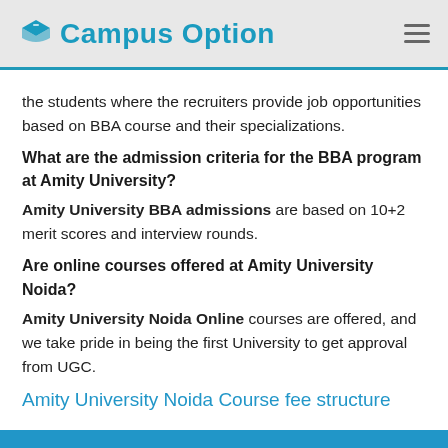Campus Option
the students where the recruiters provide job opportunities based on BBA course and their specializations.
What are the admission criteria for the BBA program at Amity University?
Amity University BBA admissions are based on 10+2 merit scores and interview rounds.
Are online courses offered at Amity University Noida?
Amity University Noida Online courses are offered, and we take pride in being the first University to get approval from UGC.
Amity University Noida Course fee structure